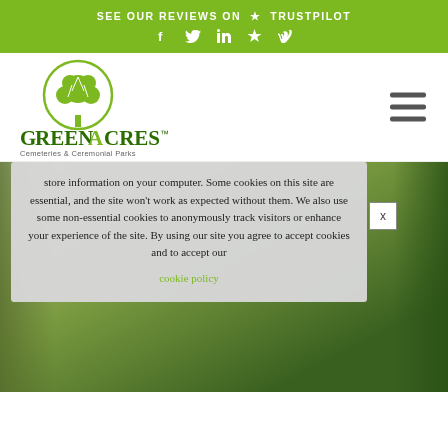SEE OUR REVIEWS ON ★ TRUSTPILOT
[Figure (logo): GreenAcres Cemeteries & Ceremonial Parks logo with circular tree illustration]
store information on your computer. Some cookies on this site are essential, and the site won't work as expected without them. We also use some non-essential cookies to anonymously track visitors or enhance your experience of the site. By using our site you agree to accept cookies and to accept our cookie policy